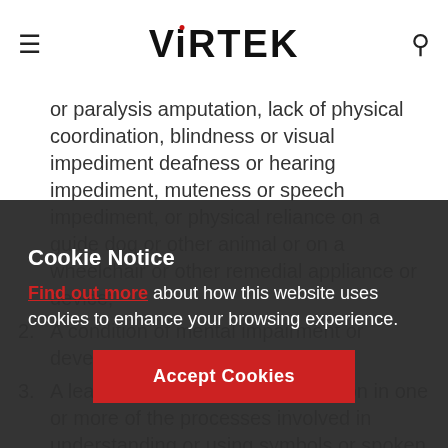VIRTEK
or paralysis amputation, lack of physical coordination, blindness or visual impediment deafness or hearing impediment, muteness or speech impediment, or physical reliance on a guide dog or other animal or on a wheelchair or other remedial appliance or device;
2. A condition of mental impairment or developmental disability;
3. A learning disability or a dysfunction in one or more of the processes involved in understanding or using symbols or spoken language;
4. A mental disorder; or
5. An injury or disability for which benefits were claimed or received under an insurance plan established under the Workplace Safety and
Cookie Notice
Find out more about how this website uses cookies to enhance your browsing experience.
Accept Cookies